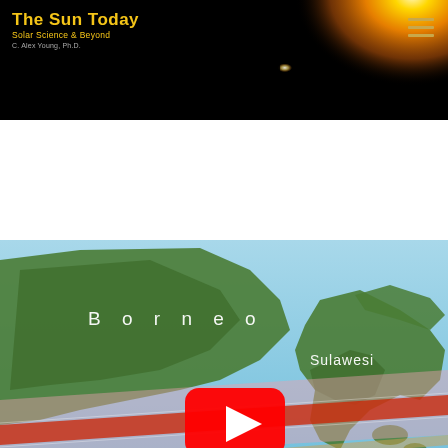The Sun Today — Solar Science & Beyond, C. Alex Young, Ph.D.
[Figure (screenshot): Website header with black background showing 'The Sun Today — Solar Science & Beyond' logo in yellow on the left and a solar image (orange/gold sun with flare) on the right, with a hamburger menu icon in the top right corner.]
[Figure (map): Satellite map view of Southeast Asia showing Borneo (upper left), Sulawesi (right center), and Java (lower left). A red/orange band crosses horizontally representing a solar eclipse path of totality. A YouTube play button (red rectangle with white triangle) is centered on the map. A scroll-to-top button appears in the lower right corner.]